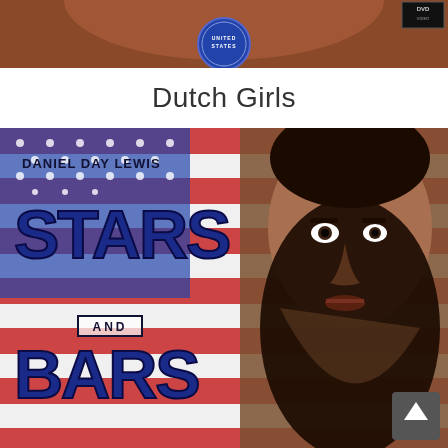[Figure (photo): Top portion of a DVD cover, partially cropped, showing a circular badge/seal and DVD logo badge in top right corner]
Dutch Girls
[Figure (photo): DVD cover for 'Stars and Bars' starring Daniel Day Lewis. Shows bold blue movie title text over an American flag background with actor's face on the right side.]